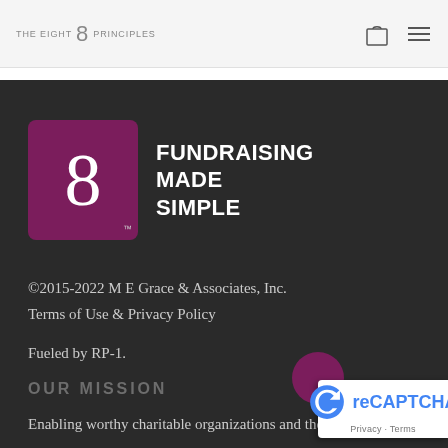THE EIGHT 8 PRINCIPLES
[Figure (logo): Eight Fundraising Made Simple logo: dark purple/maroon square with large white numeral 8, beside bold white text reading FUNDRAISING MADE SIMPLE with trademark symbol]
©2015-2022 M E Grace & Associates, Inc.
Terms of Use & Privacy Policy
Fueled by RP-1.
OUR MISSION
Enabling worthy charitable organizations and those who